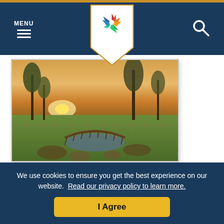MENU navigation bar with hamburger icon, logo shield, and search icon
[Figure (photo): Outdoor park scene at sunset showing a wooden arched bridge over a small pond, grass, and bare trees with golden sky in background]
Plymouth Valley Cellars
580-227-3207
We use cookies to ensure you get the best experience on our website. Read our privacy policy to learn more.
I Agree